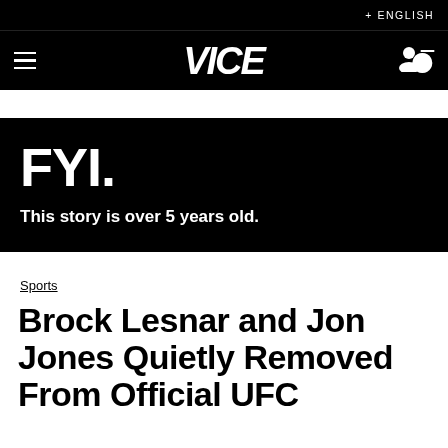+ ENGLISH
[Figure (logo): VICE logo in white on black navigation bar with hamburger menu and user icon]
FYI.
This story is over 5 years old.
Sports
Brock Lesnar and Jon Jones Quietly Removed From Official UFC